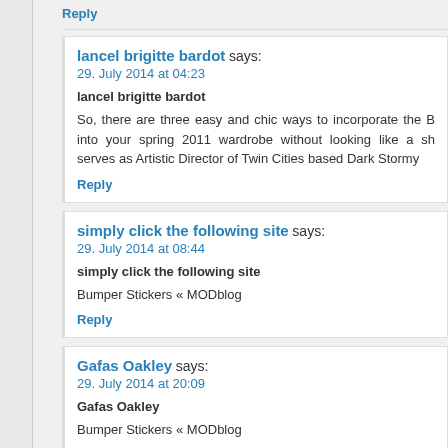Reply
lancel brigitte bardot says:
29. July 2014 at 04:23
lancel brigitte bardot
So, there are three easy and chic ways to incorporate the B into your spring 2011 wardrobe without looking like a sh serves as Artistic Director of Twin Cities based Dark Stormy
Reply
simply click the following site says:
29. July 2014 at 08:44
simply click the following site
Bumper Stickers « MODblog
Reply
Gafas Oakley says:
29. July 2014 at 20:09
Gafas Oakley
Bumper Stickers « MODblog
Reply